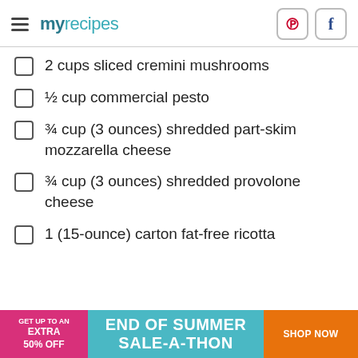myrecipes
2 cups sliced cremini mushrooms
½ cup commercial pesto
¾ cup (3 ounces) shredded part-skim mozzarella cheese
¾ cup (3 ounces) shredded provolone cheese
1 (15-ounce) carton fat-free ricotta
[Figure (infographic): Advertisement banner: GET UP TO AN EXTRA 50% OFF | END OF SUMMER SALE-A-THON | SHOP NOW]